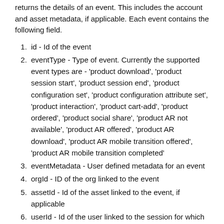returns the details of an event. This includes the account and asset metadata, if applicable. Each event contains the following field.
id - Id of the event
eventType - Type of event. Currently the supported event types are - 'product download', 'product session start', 'product session end', 'product configuration set', 'product configuration attribute set', 'product interaction', 'product cart-add', 'product ordered', 'product social share', 'product AR not available', 'product AR offered', 'product AR download', 'product AR mobile transition offered', 'product AR mobile transition completed'
eventMetadata - User defined metadata for an event
orgId - ID of the org linked to the event
assetId - Id of the asset linked to the event, if applicable
userId - Id of the user linked to the session for which events are being stored
sessionId - Id of the session for which the events are being stored
configId - Id of the configuration of asset, if applicable,